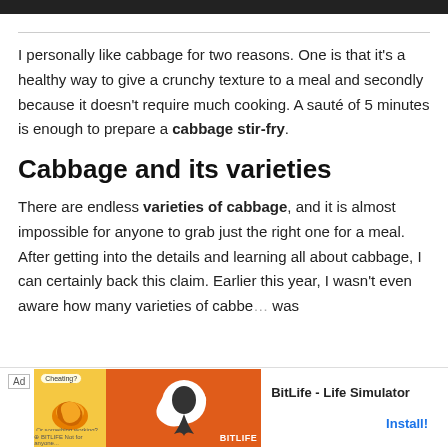[Figure (other): Black top navigation bar]
I personally like cabbage for two reasons. One is that it's a healthy way to give a crunchy texture to a meal and secondly because it doesn't require much cooking. A sauté of 5 minutes is enough to prepare a cabbage stir-fry.
Cabbage and its varieties
There are endless varieties of cabbage, and it is almost impossible for anyone to grab just the right one for a meal. After getting into the details and learning all about cabbage, I can certainly back this claim. Earlier this year, I wasn't even aware how many varieties of cabbage was
[Figure (screenshot): Advertisement banner for BitLife - Life Simulator app with yellow and orange sections, Ad label, app icon, app name, and Install button]